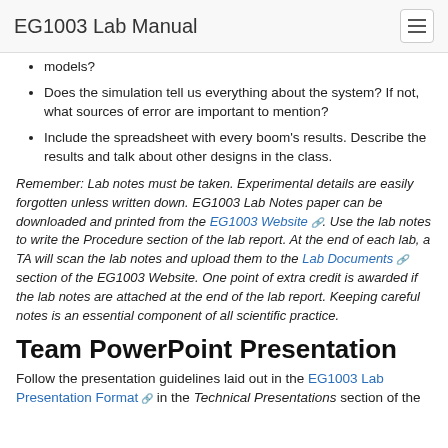EG1003 Lab Manual
models?
Does the simulation tell us everything about the system? If not, what sources of error are important to mention?
Include the spreadsheet with every boom's results. Describe the results and talk about other designs in the class.
Remember: Lab notes must be taken. Experimental details are easily forgotten unless written down. EG1003 Lab Notes paper can be downloaded and printed from the EG1003 Website. Use the lab notes to write the Procedure section of the lab report. At the end of each lab, a TA will scan the lab notes and upload them to the Lab Documents section of the EG1003 Website. One point of extra credit is awarded if the lab notes are attached at the end of the lab report. Keeping careful notes is an essential component of all scientific practice.
Team PowerPoint Presentation
Follow the presentation guidelines laid out in the EG1003 Lab Presentation Format in the Technical Presentations section of the